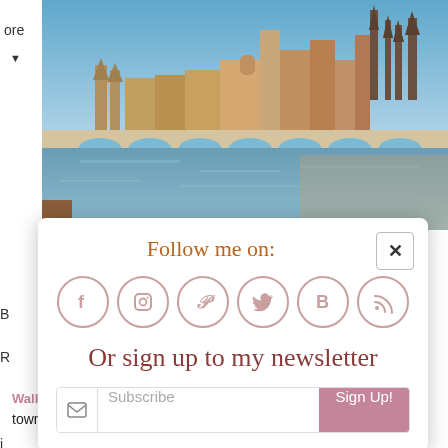[Figure (photo): Photograph of a European medieval city (Regensburg) with a stone bridge over a river and cathedral spires in the background, sunny day with blue sky.]
Follow me on:
[Figure (infographic): Six social media icon circles: Facebook (f), Instagram (camera), Pinterest (P), Twitter (bird), Bloglovin (B), RSS feed icon — all in pink/mauve outlines on white background.]
Or sign up to my newsletter
Subscribe  Sign Up!
Walls, Rothenburg ob der Tauber is by far the loveliest. The town itself managed to preserve its quaint medieval charm after the Allied strategic bombers after the Third World W...